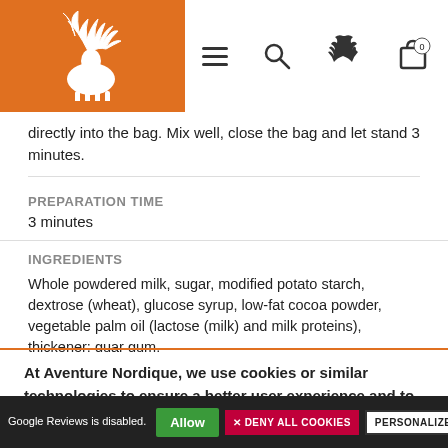Navigation bar with logo and icons
directly into the bag. Mix well, close the bag and let stand 3 minutes.
PREPARATION TIME
3 minutes
INGREDIENTS
Whole powdered milk, sugar, modified potato starch, dextrose (wheat), glucose syrup, low-fat cocoa powder, vegetable palm oil (lactose (milk) and milk proteins), thickener: guar gum.
ALLERGENS
Milk and milk-based products
At Aventure Nordique, we use cookies or similar technologies to ensure a better user experience and to perform visit statistics. Read more
Google Reviews is disabled. Allow | DENY ALL COOKIES | PERSONALIZE